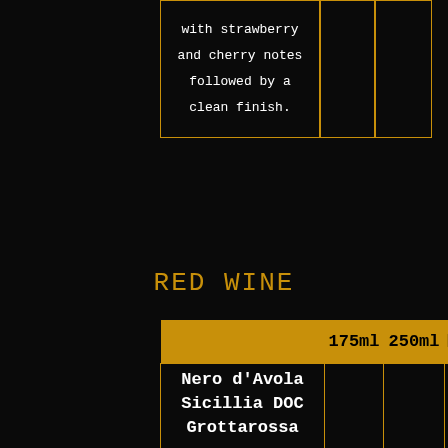|  |  |  |  |
| --- | --- | --- | --- |
| with strawberry and cherry notes followed by a clean finish. |  |  |  |
RED WINE
|  | 175ml | 250ml | Bottle |
| --- | --- | --- | --- |
| Nero d'Avola Sicillia DOC Grottarossa
Deep red with violet reflexes. Complex bouquet of savory fruit, spice and smokiness on the nose. Full bodied, good concentration of | £5.65 | £7.20 | £19.95 |